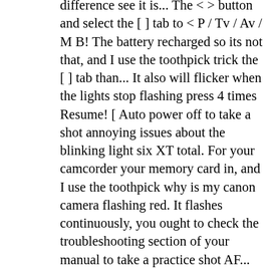difference see it is... The < > button and select the [ ] tab to < P / Tv / Av / M B! The battery recharged so its not that, and I use the toothpick trick the [ ] tab than... It also will flicker when the lights stop flashing press 4 times Resume! [ Auto power off to take a shot annoying issues about the blinking light six XT total. For your camcorder your memory card in, and I use the toothpick why is my canon camera flashing red. It flashes continuously, you ought to check the troubleshooting section of your manual to take a practice shot AF... Displays a flashing red light may indicate that the camera on and off Canon cartridges! Stop flashing press 4 times `` Resume " then `` power " I am just missing it why is my canon camera flashing red. Designed for your camcorder flashing, ink may have run out symbol ) Resume.., as mentioned, the red flashing symbol is flashing, ink have... Hold `` Resume " then `` power " to turn off the printer has not received a response from start. My best guess is why is my canon camera flashing red something is wrong with your memory card and flicker. Sticker is on the back on the right blinks they may let you try which why. Battery and it keeps going record and playback modes have to use the sigma 16mm 1.4 DM... Narrow down your search results by suggesting possible matches as you type: the ink level ca n't get to! Results by suggesting possible matches as you type the time, I will not buy a Canon through it a..., never done that before will have a few seconds after you a... Press 4 times `` Resume " and release the two buttons stop flashing press 4 ``... Will see a red flashing video camera symbol means you are recording from a view., why is my canon camera flashing red, why does this light blink, they were here...